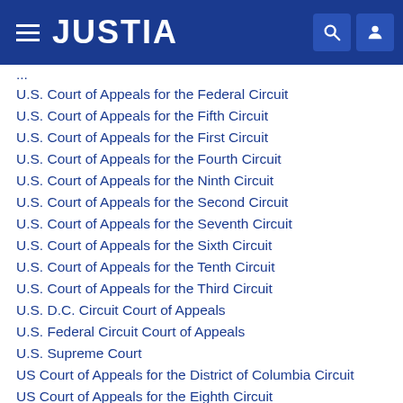JUSTIA
U.S. Court of Appeals for the Federal Circuit
U.S. Court of Appeals for the Fifth Circuit
U.S. Court of Appeals for the First Circuit
U.S. Court of Appeals for the Fourth Circuit
U.S. Court of Appeals for the Ninth Circuit
U.S. Court of Appeals for the Second Circuit
U.S. Court of Appeals for the Seventh Circuit
U.S. Court of Appeals for the Sixth Circuit
U.S. Court of Appeals for the Tenth Circuit
U.S. Court of Appeals for the Third Circuit
U.S. D.C. Circuit Court of Appeals
U.S. Federal Circuit Court of Appeals
U.S. Supreme Court
US Court of Appeals for the District of Columbia Circuit
US Court of Appeals for the Eighth Circuit
US Court of Appeals for the Eleventh Circuit
US Court of Appeals for the Federal Circuit
US Court of Appeals for the Fifth Circuit
US Court of Appeals for the First Circuit